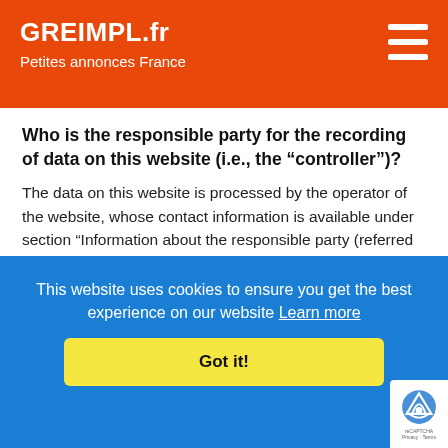GREIMPL.fr
Petites annonces France
Who is the responsible party for the recording of data on this website (i.e., the “controller”)?
The data on this website is processed by the operator of the website, whose contact information is available under section “Information about the responsible party (referred to as the “controller” in the GDPR)” in this Privacy Policy
This website uses cookies to ensure you get the best experience on our website Learn more
Got it!
automatically or after you consent to its recording